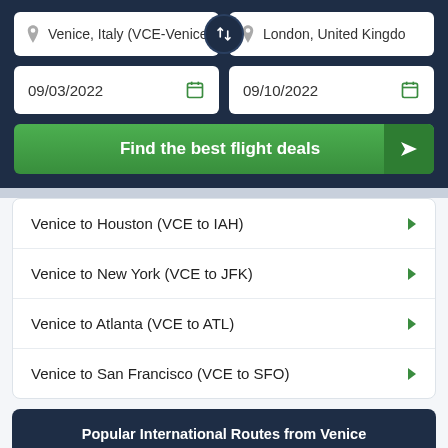Venice, Italy (VCE-Venice
London, United Kingdo
09/03/2022
09/10/2022
Find the best flight deals
Venice to Houston (VCE to IAH)
Venice to New York (VCE to JFK)
Venice to Atlanta (VCE to ATL)
Venice to San Francisco (VCE to SFO)
Popular International Routes from Venice